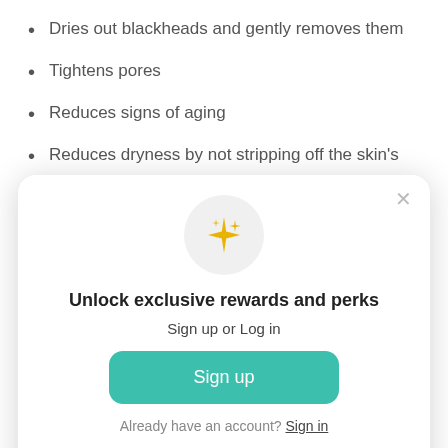Dries out blackheads and gently removes them
Tightens pores
Reduces signs of aging
Reduces dryness by not stripping off the skin's natural oils
[Figure (screenshot): Modal popup with sparkle icon, title 'Unlock exclusive rewards and perks', subtitle 'Sign up or Log in', a teal 'Sign up' button, and link 'Already have an account? Sign in'. Close button (×) in top right corner.]
chamomile, lavender, or lemongrass oil.